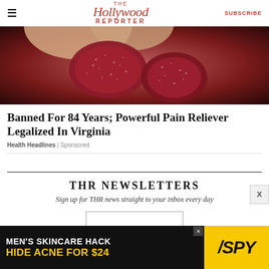The Hollywood Reporter | SUBSCRIBE
[Figure (photo): Close-up photo of dark red sugar-coated gummy candy pieces being held by fingers]
Banned For 84 Years; Powerful Pain Reliever Legalized In Virginia
Health Headlines | Sponsored
THR NEWSLETTERS
Sign up for THR news straight to your inbox every day
[Figure (screenshot): Email subscription input box (partially visible)]
[Figure (infographic): Advertisement banner: MEN'S SKINCARE HACK / HIDE ACNE FOR $24 with SPY logo on yellow background]